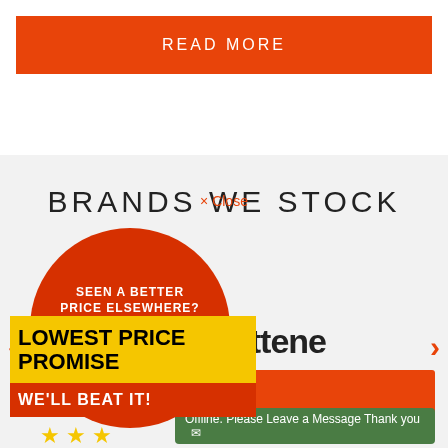[Figure (screenshot): Orange 'READ MORE' button bar at top of webpage]
BRANDS WE STOCK
× Close
[Figure (infographic): Red circular badge with 'SEEN A BETTER PRICE ELSEWHERE?' text, overlaid with yellow ribbon banner reading 'LOWEST PRICE PROMISE' and red bottom ribbon 'WE'LL BEAT IT!' with three gold stars]
ottene
Offline. Please Leave a Message Thank you